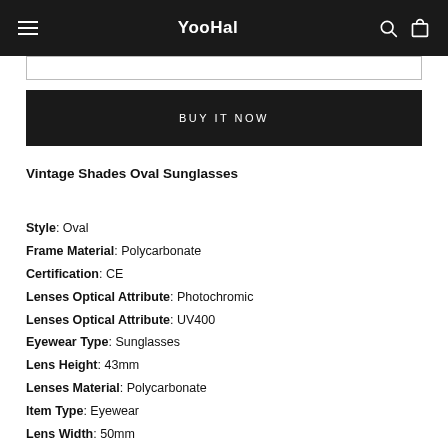YooHal
Vintage Shades Oval Sunglasses
Style: Oval
Frame Material: Polycarbonate
Certification: CE
Lenses Optical Attribute: Photochromic
Lenses Optical Attribute: UV400
Eyewear Type: Sunglasses
Lens Height: 43mm
Lenses Material: Polycarbonate
Item Type: Eyewear
Lens Width: 50mm